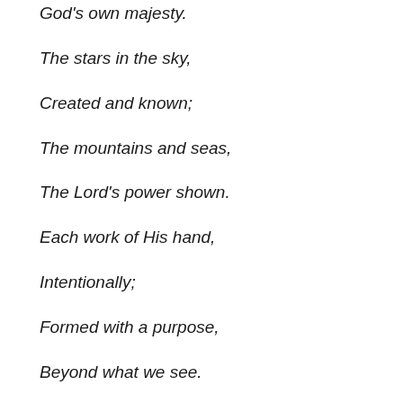God's own majesty.
The stars in the sky,
Created and known;
The mountains and seas,
The Lord's power shown.
Each work of His hand,
Intentionally;
Formed with a purpose,
Beyond what we see.
Each human on earth,